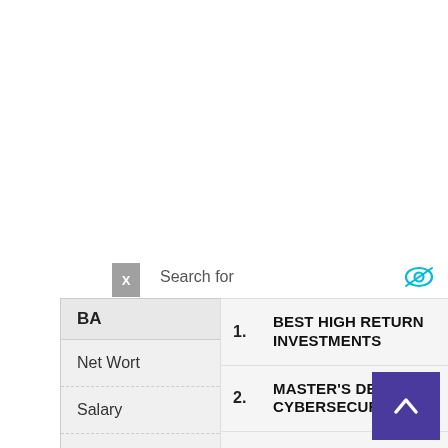Search for
1. BEST HIGH RETURN INVESTMENTS
2. MASTER'S DEGREE IN CYBERSECURITY
3. HOW TO START AN ONLINE BUSINESS
Ad | Business Focus
| BA... | ARY |
| --- | --- |
| Net Wort... |  |
| Salary |  |
| Source o... |  |
| Cars | Not Available |
| House | Living In Own House |
Cha...